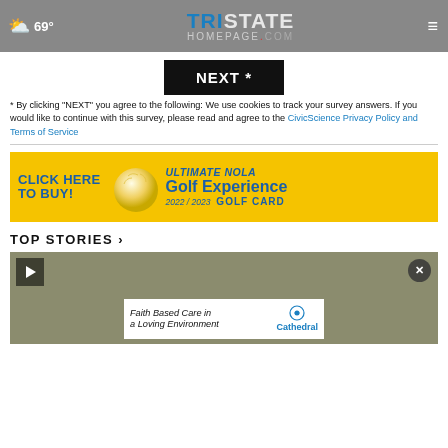69° Tristate Homepage.com
NEXT *
* By clicking "NEXT" you agree to the following: We use cookies to track your survey answers. If you would like to continue with this survey, please read and agree to the CivicScience Privacy Policy and Terms of Service
[Figure (infographic): Yellow ad banner: CLICK HERE TO BUY! Ultimate NOLA Golf Experience 2022/2023 GOLF CARD]
TOP STORIES ›
[Figure (screenshot): Video thumbnail with play button and overlay ad for Faith Based Care in a Loving Environment - Cathedral, with a close (X) button]